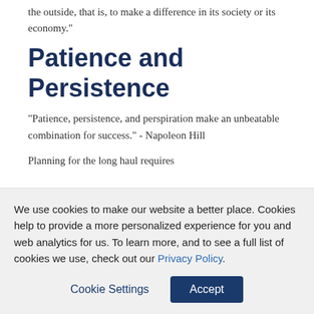the outside, that is, to make a difference in its society or its economy."
Patience and Persistence
"Patience, persistence, and perspiration make an unbeatable combination for success." - Napoleon Hill
Planning for the long haul requires
We use cookies to make our website a better place. Cookies help to provide a more personalized experience for you and web analytics for us. To learn more, and to see a full list of cookies we use, check out our Privacy Policy.
Cookie Settings | Accept